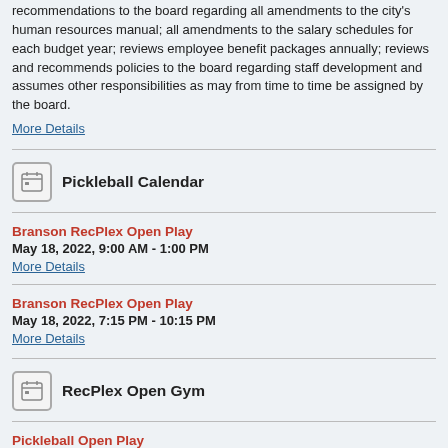recommendations to the board regarding all amendments to the city's human resources manual; all amendments to the salary schedules for each budget year; reviews employee benefit packages annually; reviews and recommends policies to the board regarding staff development and assumes other responsibilities as may from time to time be assigned by the board.
More Details
Pickleball Calendar
Branson RecPlex Open Play
May 18, 2022, 9:00 AM - 1:00 PM
More Details
Branson RecPlex Open Play
May 18, 2022, 7:15 PM - 10:15 PM
More Details
RecPlex Open Gym
Pickleball Open Play
May 18, 2022, 9:00 AM - 1:00 PM
More Details